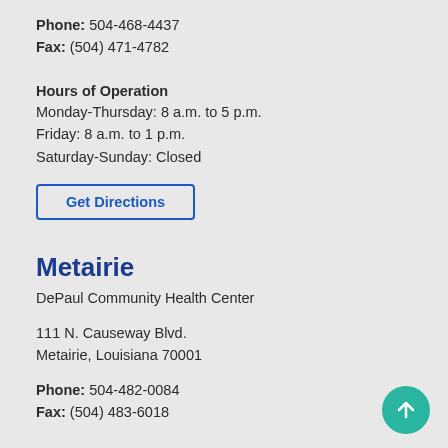Phone: 504-468-4437
Fax: (504) 471-4782
Hours of Operation
Monday-Thursday: 8 a.m. to 5 p.m.
Friday: 8 a.m. to 1 p.m.
Saturday-Sunday: Closed
Get Directions
Metairie
DePaul Community Health Center
111 N. Causeway Blvd.
Metairie, Louisiana 70001
Phone: 504-482-0084
Fax: (504) 483-6018
Hours of Operation
Monday-Thursday: 8 a.m. to 5 p.m.
Friday: 8 a.m. to 2 p.m.